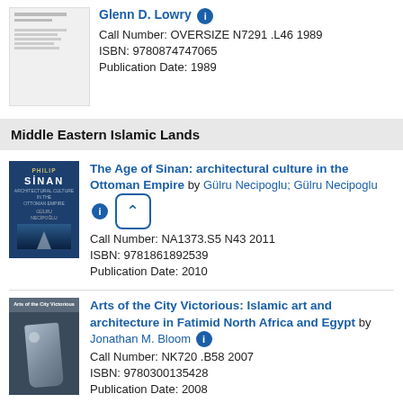[Figure (photo): Small book cover thumbnail - partial top entry]
Glenn D. Lowry
Call Number: OVERSIZE N7291 .L46 1989
ISBN: 9780874747065
Publication Date: 1989
Middle Eastern Islamic Lands
[Figure (photo): Book cover for 'The Age of Sinan' - blue cover with text SINAN and architectural image]
The Age of Sinan: architectural culture in the Ottoman Empire by Gülru Necipoglu; Gülru Necipoglu
Call Number: NA1373.S5 N43 2011
ISBN: 9781861892539
Publication Date: 2010
[Figure (photo): Book cover for 'Arts of the City Victorious' - dark cover with glass jug artifact]
Arts of the City Victorious: Islamic art and architecture in Fatimid North Africa and Egypt by Jonathan M. Bloom
Call Number: NK720 .B58 2007
ISBN: 9780300135428
Publication Date: 2008